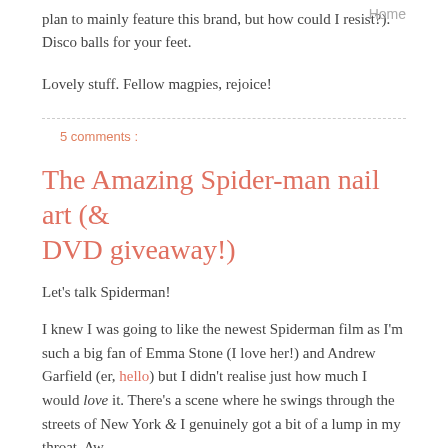plan to mainly feature this brand, but how could I resist?). Disco balls for your feet.
Home
Lovely stuff. Fellow magpies, rejoice!
5 comments :
The Amazing Spider-man nail art (& DVD giveaway!)
Let's talk Spiderman!
I knew I was going to like the newest Spiderman film as I'm such a big fan of Emma Stone (I love her!) and Andrew Garfield (er, hello) but I didn't realise just how much I would love it. There's a scene where he swings through the streets of New York & I genuinely got a bit of a lump in my throat. Aw.